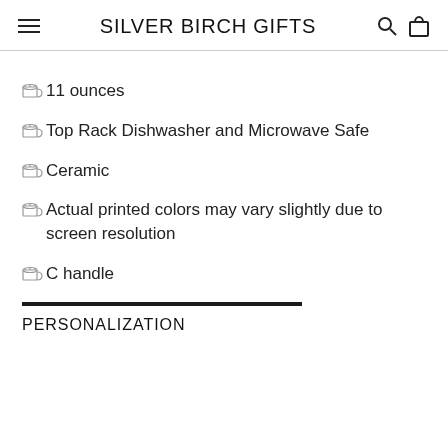SILVER BIRCH GIFTS
11 ounces
Top Rack Dishwasher and Microwave Safe
Ceramic
Actual printed colors may vary slightly due to screen resolution
C handle
PERSONALIZATION